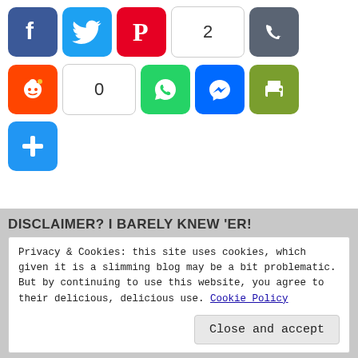[Figure (infographic): Social share buttons row 1: Facebook, Twitter, Pinterest, count box showing 2, Phone/Viber button]
[Figure (infographic): Social share buttons row 2: Reddit, count box showing 0, WhatsApp, Facebook Messenger, Print]
[Figure (infographic): Social share buttons row 3: Plus/More button]
DISCLAIMER? I BARELY KNEW 'ER!
Privacy & Cookies: this site uses cookies, which given it is a slimming blog may be a bit problematic. But by continuing to use this website, you agree to their delicious, delicious use. Cookie Policy
Close and accept